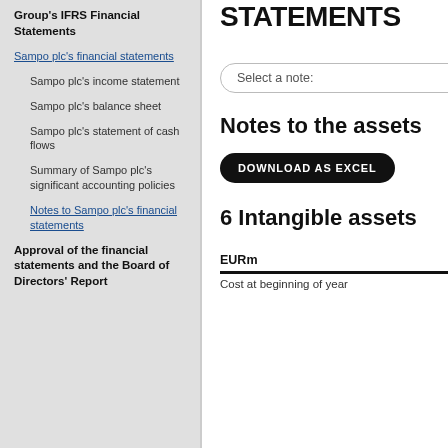Group's IFRS Financial Statements
Sampo plc's financial statements
Sampo plc's income statement
Sampo plc's balance sheet
Sampo plc's statement of cash flows
Summary of Sampo plc's significant accounting policies
Notes to Sampo plc's financial statements
Approval of the financial statements and the Board of Directors' Report
NOTES TO STATEMENTS
Select a note:
Notes to the assets
DOWNLOAD AS EXCEL
6 Intangible assets
EURm
Cost at beginning of year